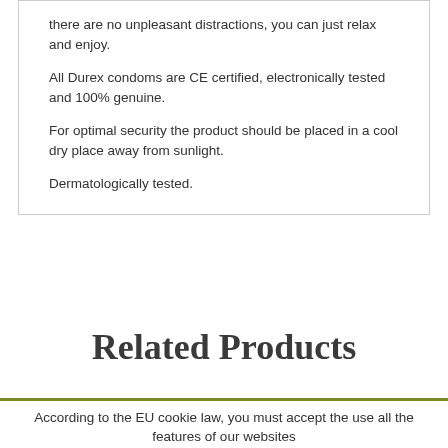there are no unpleasant distractions, you can just relax and enjoy.
All Durex condoms are CE certified, electronically tested and 100% genuine.
For optimal security the product should be placed in a cool dry place away from sunlight.
Dermatologically tested.
Related Products
According to the EU cookie law, you must accept the use all the features of our websites
AGREE   Read more